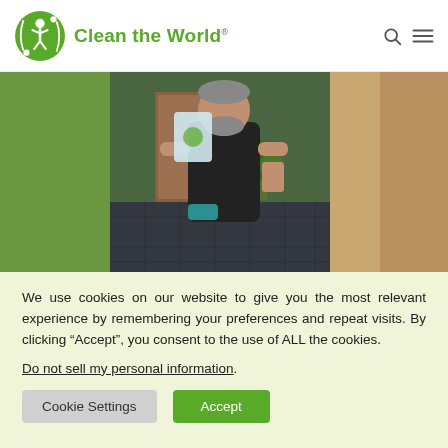Clean the World
[Figure (photo): A man with a beard wearing a black t-shirt stands in an indoor hallway holding a bag with the Clean the World logo. The hallway has green walls, dark tile flooring, and a potted plant visible in the background.]
We use cookies on our website to give you the most relevant experience by remembering your preferences and repeat visits. By clicking “Accept”, you consent to the use of ALL the cookies.
Do not sell my personal information.
Cookie Settings   Accept